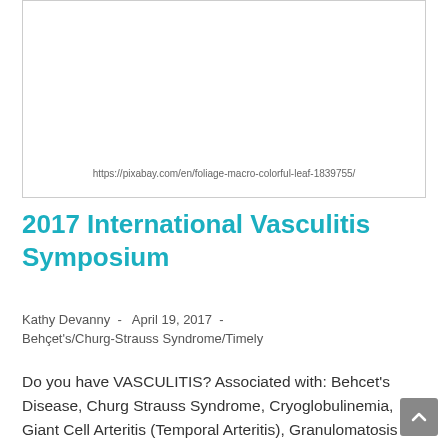[Figure (other): Placeholder image area with a URL caption referencing a Pixabay foliage/leaf image. The image itself is not visible (white/blank).]
https://pixabay.com/en/foliage-macro-colorful-leaf-1839755/
2017 International Vasculitis Symposium
Kathy Devanny  -   April 19, 2017  -
Behçet's/Churg-Strauss Syndrome/Timely
Do you have VASCULITIS? Associated with: Behcet's Disease, Churg Strauss Syndrome, Cryoglobulinemia, Giant Cell Arteritis (Temporal Arteritis), Granulomatosis with Polyangiitis (formerly